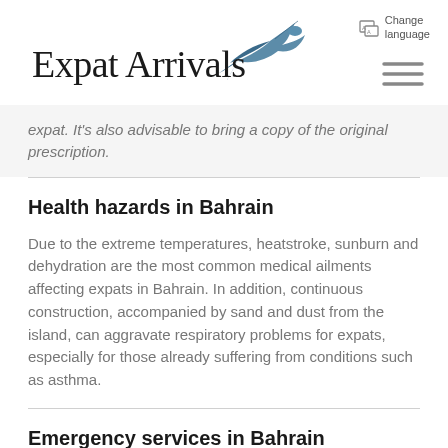Expat Arrivals — Change language
expat. It's also advisable to bring a copy of the original prescription.
Health hazards in Bahrain
Due to the extreme temperatures, heatstroke, sunburn and dehydration are the most common medical ailments affecting expats in Bahrain. In addition, continuous construction, accompanied by sand and dust from the island, can aggravate respiratory problems for expats, especially for those already suffering from conditions such as asthma.
Emergency services in Bahrain
Emergency medical services in Bahrain tend to be well